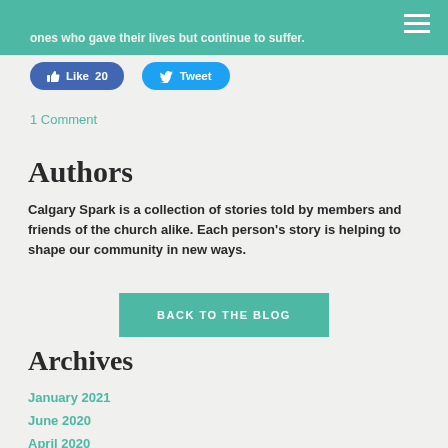ones who gave their lives but continue to suffer.
[Figure (screenshot): Facebook Like button with count 20 and Twitter Tweet button]
1 Comment
Authors
Calgary Spark is a collection of stories told by members and friends of the church alike. Each person's story is helping to shape our community in new ways.
BACK TO THE BLOG
Archives
January 2021
June 2020
April 2020
October 2019
May 2019